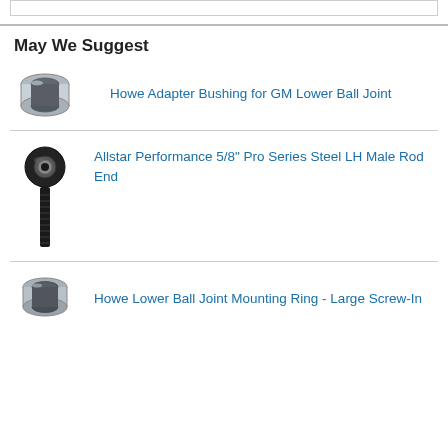May We Suggest
[Figure (photo): Metal adapter bushing, cylindrical silver part]
Howe Adapter Bushing for GM Lower Ball Joint
[Figure (photo): Black steel male rod end with threaded shank]
Allstar Performance 5/8" Pro Series Steel LH Male Rod End
[Figure (photo): Metal lower ball joint mounting ring, silver circular part]
Howe Lower Ball Joint Mounting Ring - Large Screw-In